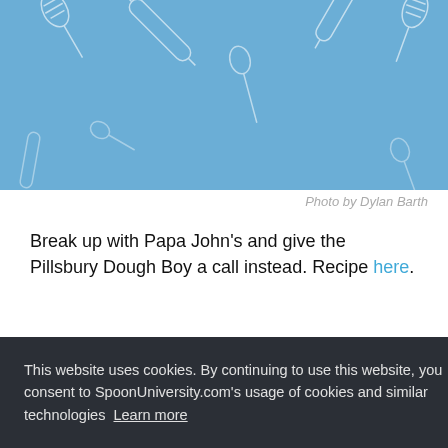[Figure (illustration): Blue banner with white outline kitchen tool illustrations (whisks, rolling pins, spatulas, spoons)]
Photo by Dylan Barth
Break up with Papa John's and give the Pillsbury Dough Boy a call instead. Recipe here.
13. Pizza Fries
[Figure (screenshot): Advertisement banner with teal/green gradient background reading GO AHEAD, play WITH YOUR FOOD with sparkle decorations]
This website uses cookies. By continuing to use this website, you consent to SpoonUniversity.com's usage of cookies and similar technologies Learn more